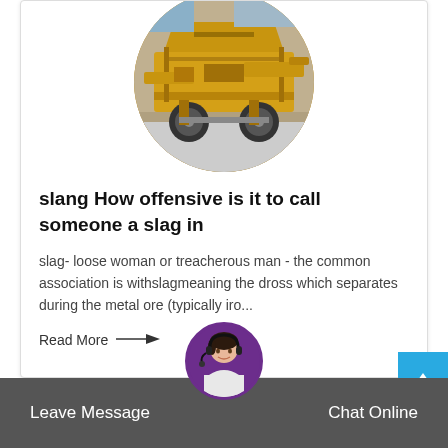[Figure (photo): Circular cropped photo of a yellow mobile industrial/mining crushing machine on wheels, outdoors on a concrete surface.]
slang How offensive is it to call someone a slag in
slag- loose woman or treacherous man - the common association is withslagmeaning the dross which separates during the metal ore (typically iro...
Read More →
[Figure (photo): Circular avatar of a woman with headset (customer support agent), purple-bordered circle, positioned at center bottom.]
Leave Message
Chat Online